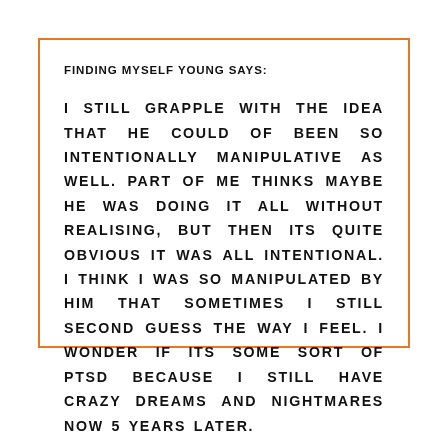FINDING MYSELF YOUNG SAYS:
I STILL GRAPPLE WITH THE IDEA THAT HE COULD OF BEEN SO INTENTIONALLY MANIPULATIVE AS WELL. PART OF ME THINKS MAYBE HE WAS DOING IT ALL WITHOUT REALISING, BUT THEN ITS QUITE OBVIOUS IT WAS ALL INTENTIONAL. I THINK I WAS SO MANIPULATED BY HIM THAT SOMETIMES I STILL SECOND GUESS THE WAY I FEEL. I WONDER IF ITS SOME SORT OF PTSD BECAUSE I STILL HAVE CRAZY DREAMS AND NIGHTMARES NOW 5 YEARS LATER.